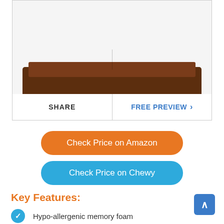[Figure (photo): Dog bed product photo - brown rectangular pet bed, partially visible at top]
SHARE
FREE PREVIEW ›
Check Price on Amazon
Check Price on Chewy
Key Features:
Hypo-allergenic memory foam